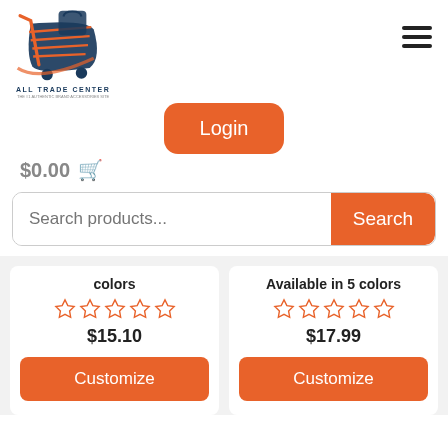[Figure (logo): All Trade Center logo with shopping cart and bag icon]
[Figure (other): Hamburger menu icon (three horizontal lines)]
[Figure (other): Login button (orange rounded rectangle)]
$0.00 🛒
[Figure (other): Search bar with 'Search products...' placeholder and orange Search button]
colors
Available in 5 colors
[Figure (other): 5 empty orange star rating]
[Figure (other): 5 empty orange star rating]
$15.10
$17.99
[Figure (other): Customize button (orange)]
[Figure (other): Customize button (orange)]